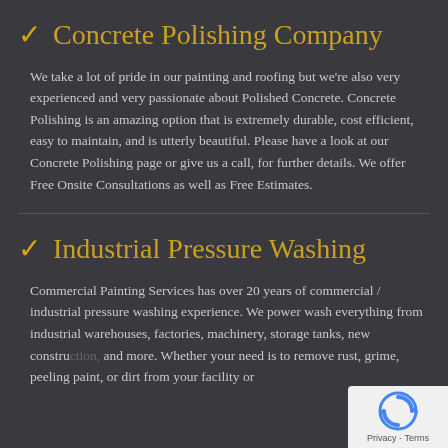Concrete Polishing Company
We take a lot of pride in our painting and roofing but we're also very experienced and very passionate about Polished Concrete. Concrete Polishing is an amazing option that is extremely durable, cost efficient, easy to maintain, and is utterly beautiful. Please have a look at our Concrete Polishing page or give us a call, for further details. We offer Free Onsite Consultations as well as Free Estimates.
Industrial Pressure Washing
Commercial Painting Services has over 20 years of commercial / industrial pressure washing experience. We power wash everything from industrial warehouses, factories, machinery, storage tanks, new construction, and more. Whether your need is to remove rust, grime, peeling paint, or dirt from your facility or